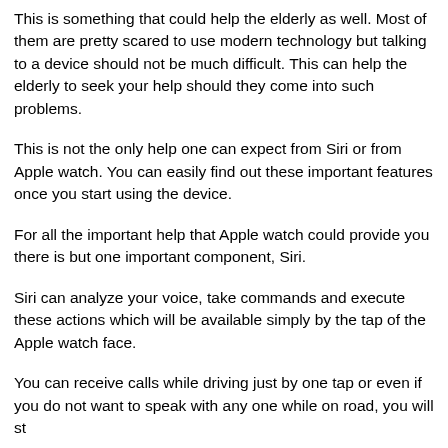This is something that could help the elderly as well. Most of them are pretty scared to use modern technology but talking to a device should not be much difficult. This can help the elderly to seek your help should they come into such problems.
This is not the only help one can expect from Siri or from Apple watch. You can easily find out these important features once you start using the device.
For all the important help that Apple watch could provide you there is but one important component, Siri.
Siri can analyze your voice, take commands and execute these actions which will be available simply by the tap of the Apple watch face.
You can receive calls while driving just by one tap or even if you do not want to speak with any one while on road, you will st...